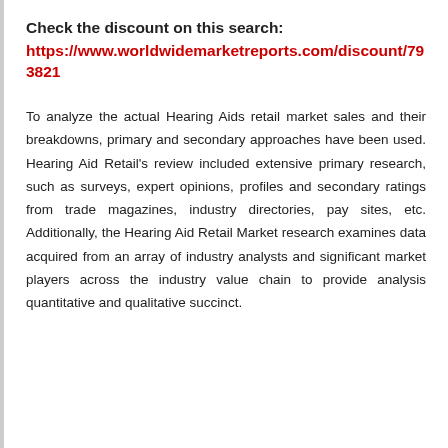Check the discount on this search:
https://www.worldwidemarketreports.com/discount/793821
To analyze the actual Hearing Aids retail market sales and their breakdowns, primary and secondary approaches have been used. Hearing Aid Retail's review included extensive primary research, such as surveys, expert opinions, profiles and secondary ratings from trade magazines, industry directories, pay sites, etc. Additionally, the Hearing Aid Retail Market research examines data acquired from an array of industry analysts and significant market players across the industry value chain to provide analysis quantitative and qualitative succinct.